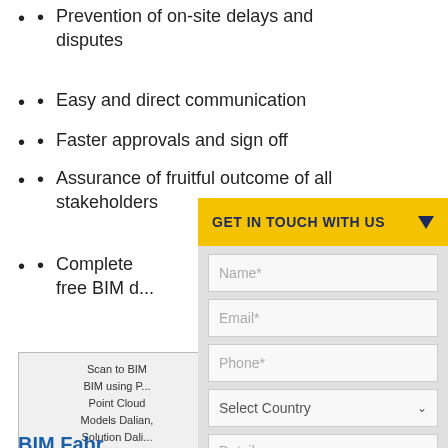Prevention of on-site delays and disputes
Easy and direct communication
Faster approvals and sign off
Assurance of fruitful outcome of all stakeholders
Complete free BIM d...
Scan to BIM
BIM using P...
Point Cloud
Models Dalian,
Solution Dali...
BIM clash
BIM Fabr... fabricatio...
CAD Outsour...
Fabrication
GET IN TOUCH WITH US
Name*
Email*
Phone*
Select Country
Details